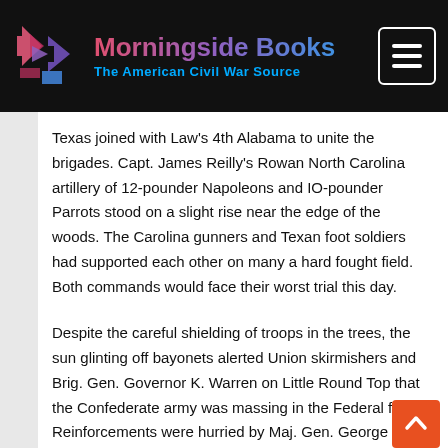[Figure (logo): Morningside Books logo with arrow/book icon and text 'Morningside Books – The American Civil War Source' on dark background with hamburger menu button]
Texas joined with Law's 4th Alabama to unite the brigades. Capt. James Reilly's Rowan North Carolina artillery of 12-pounder Napoleons and IO-pounder Parrots stood on a slight rise near the edge of the woods. The Carolina gunners and Texan foot soldiers had supported each other on many a hard fought field. Both commands would face their worst trial this day.
Despite the careful shielding of troops in the trees, the sun glinting off bayonets alerted Union skirmishers and Brig. Gen. Governor K. Warren on Little Round Top that the Confederate army was massing in the Federal front. Reinforcements were hurried by Maj. Gen. George G. Meade to